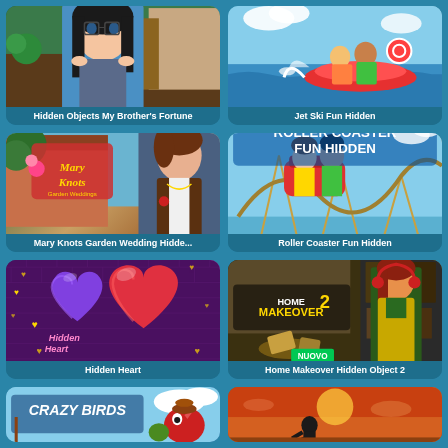[Figure (screenshot): Hidden Objects My Brother's Fortune game thumbnail with anime-style female character]
Hidden Objects My Brother's Fortune
[Figure (screenshot): Jet Ski Fun Hidden game thumbnail with water sport scene]
Jet Ski Fun Hidden
[Figure (screenshot): Mary Knots Garden Wedding Hidden game thumbnail with garden setting]
Mary Knots Garden Wedding Hidde...
[Figure (screenshot): Roller Coaster Fun Hidden game thumbnail with roller coaster scene]
Roller Coaster Fun Hidden
[Figure (screenshot): Hidden Heart game thumbnail with glowing hearts on purple brick background]
Hidden Heart
[Figure (screenshot): Home Makeover Hidden Object 2 game thumbnail with NUOVO badge]
Home Makeover Hidden Object 2
[Figure (screenshot): Crazy Birds game thumbnail - partially visible at bottom]
[Figure (screenshot): Hidden objects desert game thumbnail - partially visible at bottom]